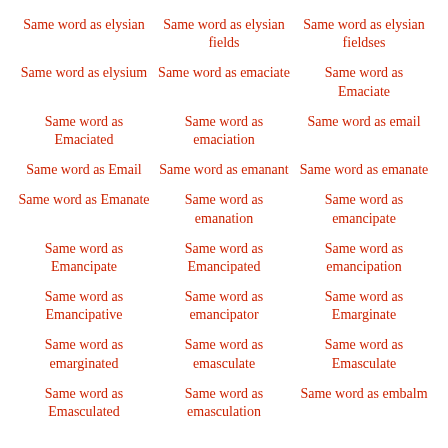Same word as elysian
Same word as elysian fields
Same word as elysian fieldses
Same word as elysium
Same word as emaciate
Same word as Emaciate
Same word as Emaciated
Same word as emaciation
Same word as email
Same word as Email
Same word as emanant
Same word as emanate
Same word as Emanate
Same word as emanation
Same word as emancipate
Same word as Emancipate
Same word as Emancipated
Same word as emancipation
Same word as Emancipative
Same word as emancipator
Same word as Emarginate
Same word as emarginated
Same word as emasculate
Same word as Emasculate
Same word as Emasculated
Same word as emasculation
Same word as embalm